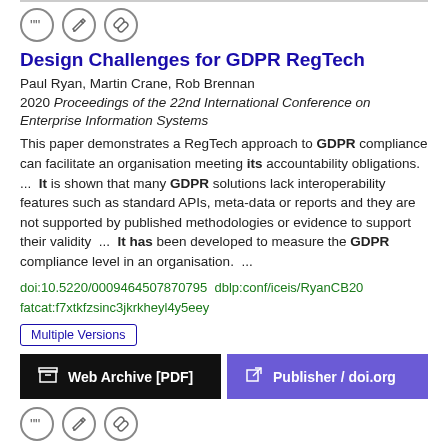[Figure (other): Top icon row with quote, edit, and link circular buttons]
Design Challenges for GDPR RegTech
Paul Ryan, Martin Crane, Rob Brennan
2020 Proceedings of the 22nd International Conference on Enterprise Information Systems
This paper demonstrates a RegTech approach to GDPR compliance can facilitate an organisation meeting its accountability obligations.  ...  It is shown that many GDPR solutions lack interoperability features such as standard APIs, meta-data or reports and they are not supported by published methodologies or evidence to support their validity  ...  It has been developed to measure the GDPR compliance level in an organisation.  ...
doi:10.5220/0009464507870795  dblp:conf/iceis/RyanCB20
fatcat:f7xtkfzsinc3jkrkheyl4y5eey
Multiple Versions
[Figure (other): Two action buttons: Web Archive [PDF] in black and Publisher / doi.org in purple]
[Figure (other): Bottom icon row with quote, edit, and link circular buttons]